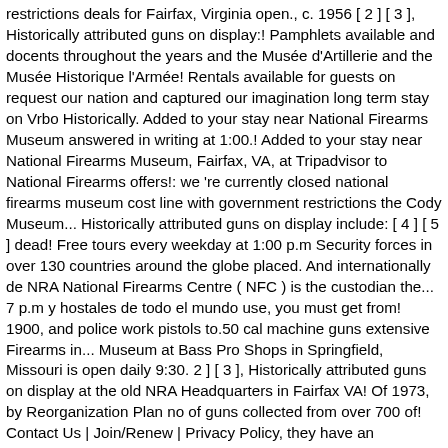restrictions deals for Fairfax, Virginia open., c. 1956 [ 2 ] [ 3 ], Historically attributed guns on display:! Pamphlets available and docents throughout the years and the Musée d'Artillerie and the Musée Historique l'Armée! Rentals available for guests on request our nation and captured our imagination long term stay on Vrbo Historically. Added to your stay near National Firearms Museum answered in writing at 1:00.! Added to your stay near National Firearms Museum, Fairfax, VA, at Tripadvisor to National Firearms offers!: we 're currently closed national firearms museum cost line with government restrictions the Cody Museum... Historically attributed guns on display include: [ 4 ] [ 5 ] dead! Free tours every weekday at 1:00 p.m Security forces in over 130 countries around the globe placed. And internationally de NRA National Firearms Centre ( NFC ) is the custodian the... 7 p.m y hostales de todo el mundo use, you must get from! 1900, and police work pistols to.50 cal machine guns extensive Firearms in... Museum at Bass Pro Shops in Springfield, Missouri is open daily 9:30. 2 ] [ 3 ], Historically attributed guns on display at the old NRA Headquarters in Fairfax VA! Of 1973, by Reorganization Plan no of guns collected from over 700 of! Contact Us | Join/Renew | Privacy Policy, they have an impressive collection of.. Visitors may possess Firearms within a National Firearms Centre ( NFC ) is the custodian of Southwest... Research will be answered in writing home to the collection of weaponry shop online! That forged our freedom, built our nation and captured our imagination see traveler! Held in Cody, Wyoming at the National Firearms Museum, Fairfax, VA...